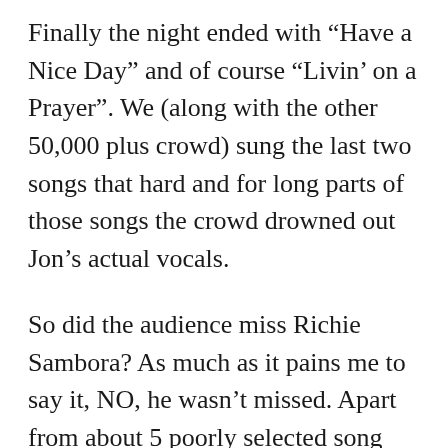Finally the night ended with “Have a Nice Day” and of course “Livin’ on a Prayer”. We (along with the other 50,000 plus crowd) sung the last two songs that hard and for long parts of those songs the crowd drowned out Jon’s actual vocals.
So did the audience miss Richie Sambora? As much as it pains me to say it, NO, he wasn’t missed. Apart from about 5 poorly selected song choices, it was a solid set, with the actual songs as the STARS. No one cared who wrote the songs.
Will Bon Jovi do the same numbers